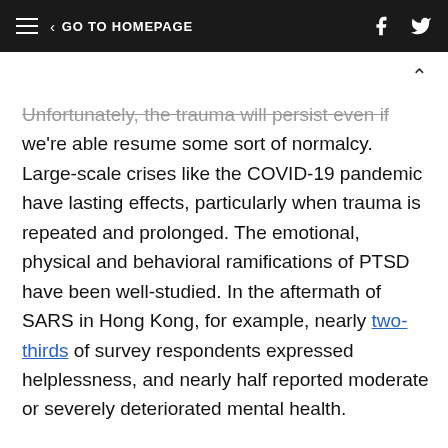GO TO HOMEPAGE
Unfortunately, the trauma will persist even if we're able resume some sort of normalcy. Large-scale crises like the COVID-19 pandemic have lasting effects, particularly when trauma is repeated and prolonged. The emotional, physical and behavioral ramifications of PTSD have been well-studied. In the aftermath of SARS in Hong Kong, for example, nearly two-thirds of survey respondents expressed helplessness, and nearly half reported moderate or severely deteriorated mental health.
Not only does trauma affect us emotionally; there